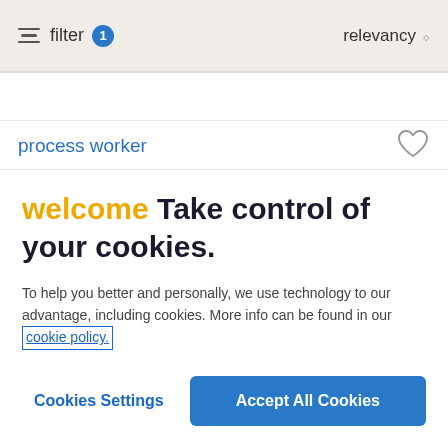filter 1   relevancy
process worker
welcome Take control of your cookies.
To help you better and personally, we use technology to our advantage, including cookies. More info can be found in our cookie policy.
Cookies Settings   Accept All Cookies